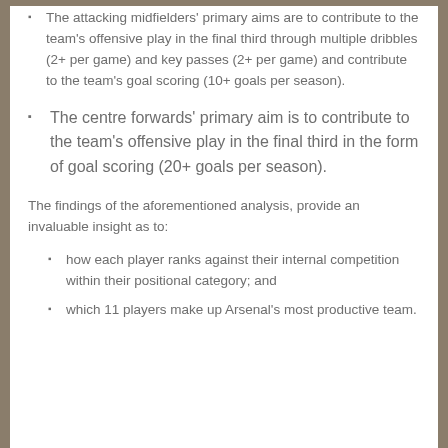The attacking midfielders' primary aims are to contribute to the team's offensive play in the final third through multiple dribbles (2+ per game) and key passes (2+ per game) and contribute to the team's goal scoring (10+ goals per season).
The centre forwards' primary aim is to contribute to the team's offensive play in the final third in the form of goal scoring (20+ goals per season).
The findings of the aforementioned analysis, provide an invaluable insight as to:
how each player ranks against their internal competition within their positional category; and
which 11 players make up Arsenal's most productive team.